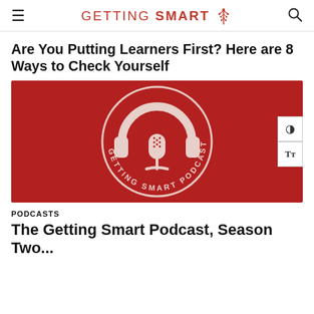≡  GETTING SMART 🌳  🔍
Are You Putting Learners First? Here are 8 Ways to Check Yourself
[Figure (logo): Getting Smart Podcast logo: white circle with headphones and microphone icon on red background, text reads 'GETTING SMART PODCAST' around the bottom of the circle]
PODCASTS
The Getting Smart Podcast, Season Two...